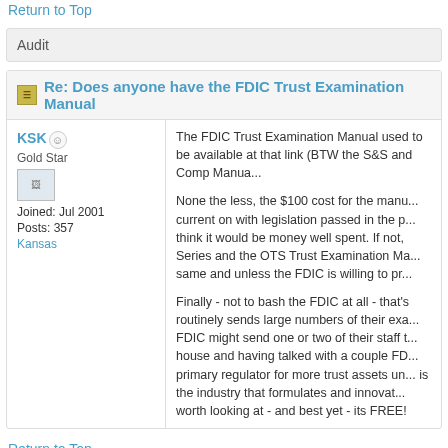Return to Top
Audit
Re: Does anyone have the FDIC Trust Examination Manual
KSK
Gold Star
Joined: Jul 2001
Posts: 357
Kansas
The FDIC Trust Examination Manual used to be available at that link (BTW the S&S and Comp Manua...
None the less, the $100 cost for the manu... current on with legislation passed in the p... think it would be money well spent. If not, Series and the OTS Trust Examination Ma... same and unless the FDIC is willing to pr...
Finally - not to bash the FDIC at all - that's routinely sends large numbers of their exa... FDIC might send one or two of their staff t... house and having talked with a couple FD... primary regulator for more trust assets un... is the industry that formulates and innovat... worth looking at - and best yet - its FREE!
Return to Top